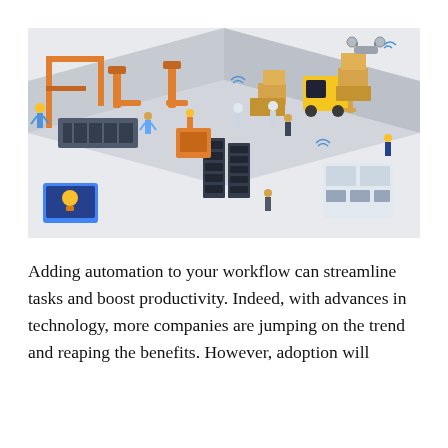[Figure (illustration): Isometric illustration of a modern automated factory floor with robotic arms, conveyor belts, forklifts, drones, workers in hard hats, computer servers, and smart devices — depicting Industry 4.0 / smart manufacturing.]
Adding automation to your workflow can streamline tasks and boost productivity. Indeed, with advances in technology, more companies are jumping on the trend and reaping the benefits. However, adoption will